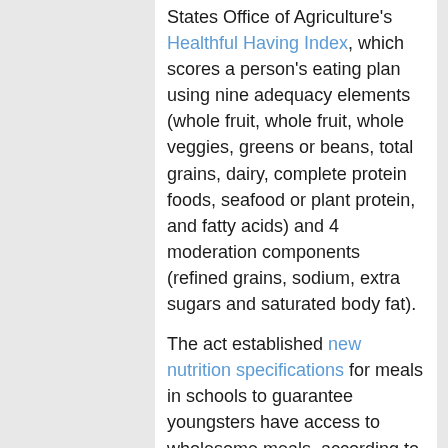States Office of Agriculture's Healthful Having Index, which scores a person's eating plan using nine adequacy elements (whole fruit, whole fruit, whole veggies, greens or beans, total grains, dairy, complete protein foods, seafood or plant protein, and fatty acids) and 4 moderation components (refined grains, sodium, extra sugars and saturated body fat).
The act established new nutrition specifications for meals in schools to guarantee youngsters have access to wholesome meals, according to the USDA. Some of the expectations include featuring learners both of those fruits and greens every single day and limiting the selection of energy served based on children's ages.
“It demonstrates you how a solitary plan handed by Congress can dramatically increase the nourishment of tens of millions of little ones,” Mozaffarian said.
In the effects, scientists also observed that the increase in healthier consuming in faculties